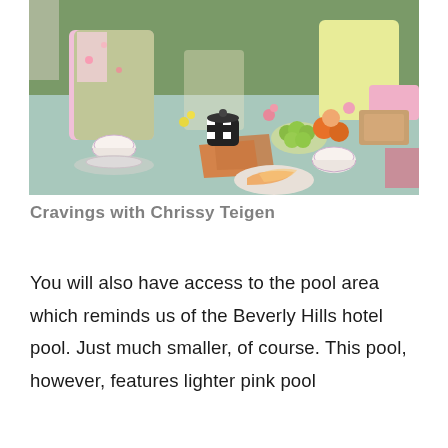[Figure (photo): Outdoor picnic scene with women in colorful outfits (floral pink-green and yellow) sitting on a light blue blanket on grass. A picnic spread is laid out with a checkered teapot, tea cups, fruits (grapes, oranges, peach), orange napkins, a wooden cutting board, flowers, and a plate with melon slices.]
Cravings with Chrissy Teigen
You will also have access to the pool area which reminds us of the Beverly Hills hotel pool. Just much smaller, of course. This pool, however, features lighter pink pool